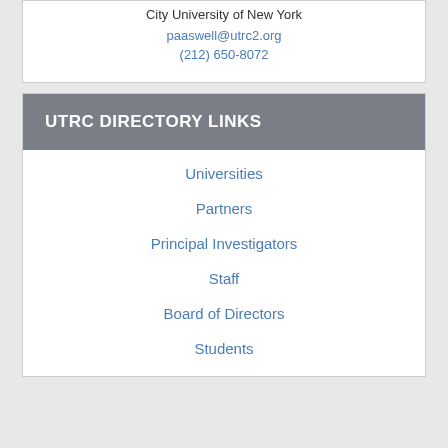City University of New York
paaswell@utrc2.org
(212) 650-8072
UTRC DIRECTORY LINKS
Universities
Partners
Principal Investigators
Staff
Board of Directors
Students